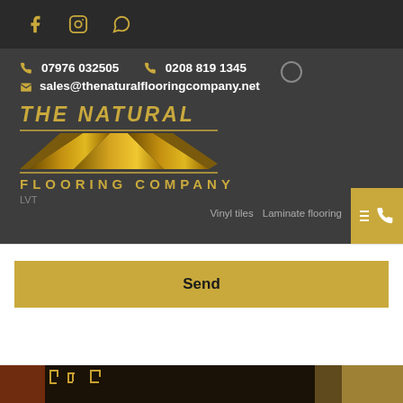Social media icons: Facebook, Instagram, WhatsApp
07976 032505   0208 819 1345
sales@thenaturalflooringcompany.net
[Figure (logo): The Natural Flooring Company logo with gold text and stylized floor planks graphic]
Vinyl tiles   Laminate flooring   LVT
Send